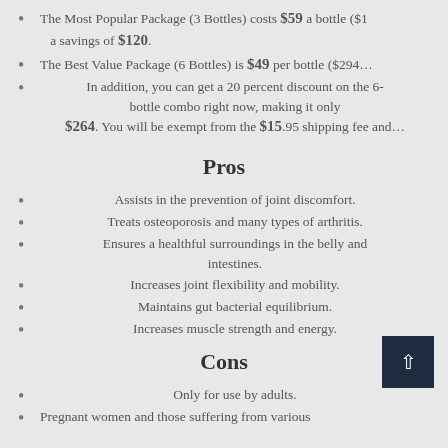The Most Popular Package (3 Bottles) costs $59 a bottle ($1… a savings of $120.
The Best Value Package (6 Bottles) is $49 per bottle ($294…
In addition, you can get a 20 percent discount on the 6-bottle combo right now, making it only $264. You will be exempt from the $15.95 shipping fee and…
Pros
Assists in the prevention of joint discomfort.
Treats osteoporosis and many types of arthritis.
Ensures a healthful surroundings in the belly and intestines.
Increases joint flexibility and mobility.
Maintains gut bacterial equilibrium.
Increases muscle strength and energy.
Cons
Only for use by adults.
Pregnant women and those suffering from various…